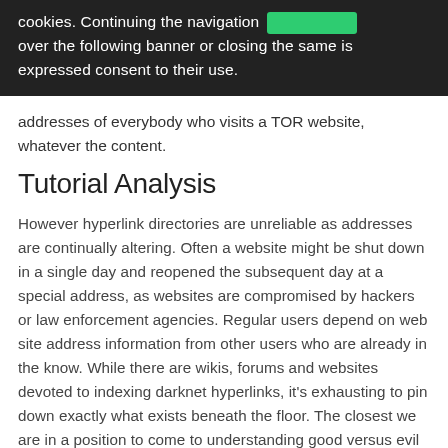cookies. Continuing the navigation over the following banner or closing the same is expressed consent to their use.
addresses of everybody who visits a TOR website, whatever the content.
Tutorial Analysis
However hyperlink directories are unreliable as addresses are continually altering. Often a website might be shut down in a single day and reopened the subsequent day at a special address, as websites are compromised by hackers or law enforcement agencies. Regular users depend on web site address information from other users who are already in the know. While there are wikis, forums and websites devoted to indexing darknet hyperlinks, it's exhausting to pin down exactly what exists beneath the floor. The closest we are in a position to come to understanding good versus evil on the darknet is thru projects like Hyperion